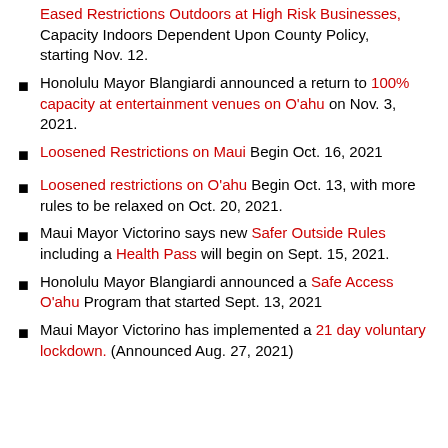Eased Restrictions Outdoors at High Risk Businesses, Capacity Indoors Dependent Upon County Policy, starting Nov. 12.
Honolulu Mayor Blangiardi announced a return to 100% capacity at entertainment venues on O'ahu on Nov. 3, 2021.
Loosened Restrictions on Maui Begin Oct. 16, 2021
Loosened restrictions on O'ahu Begin Oct. 13, with more rules to be relaxed on Oct. 20, 2021.
Maui Mayor Victorino says new Safer Outside Rules including a Health Pass will begin on Sept. 15, 2021.
Honolulu Mayor Blangiardi announced a Safe Access O'ahu Program that started Sept. 13, 2021
Maui Mayor Victorino has implemented a 21 day voluntary lockdown. (Announced Aug. 27, 2021)